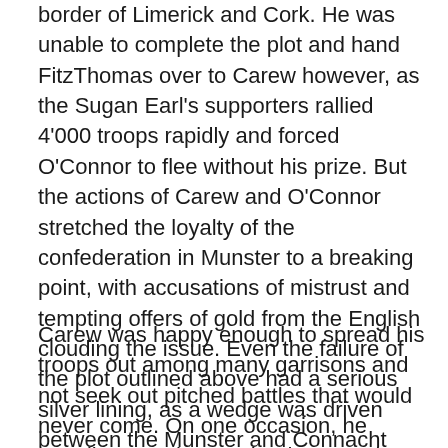border of Limerick and Cork. He was unable to complete the plot and hand FitzThomas over to Carew however, as the Sugan Earl's supporters rallied 4'000 troops rapidly and forced O'Connor to flee without his prize. But the actions of Carew and O'Connor stretched the loyalty of the confederation in Munster to a breaking point, with accusations of mistrust and tempting offers of gold from the English clouding the issue. Even the failure of the plot outlined above had a serious silver lining, as a wedge was driven between the Munster and Connacht rebels, with many of the latter heading home in the aftermath.
Carew was happy enough to spread his troops out among many garrisons and not seek out pitched battles that would never come. On one occasion, he happily spread news that he was about to go on the march but then never did, much to the chagrin of rebel forces who came out to